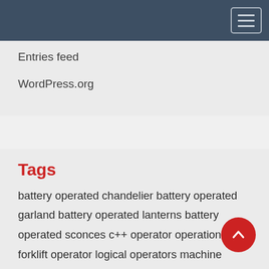Entries feed
WordPress.org
Tags
battery operated chandelier battery operated garland battery operated lanterns battery operated sconces c++ operator operation forklift operator logical operators machine operator jobs mac operating